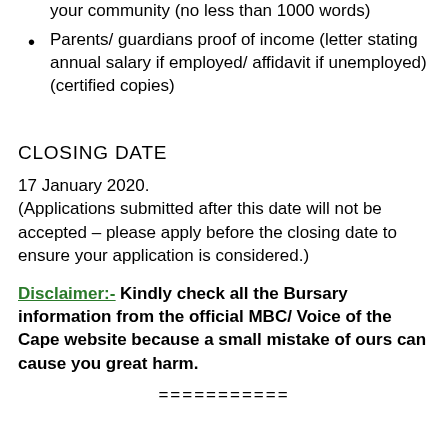your community (no less than 1000 words)
Parents/ guardians proof of income (letter stating annual salary if employed/ affidavit if unemployed) (certified copies)
CLOSING DATE
17 January 2020.
(Applications submitted after this date will not be accepted – please apply before the closing date to ensure your application is considered.)
Disclaimer:- Kindly check all the Bursary information from the official MBC/ Voice of the Cape website because a small mistake of ours can cause you great harm.
===========